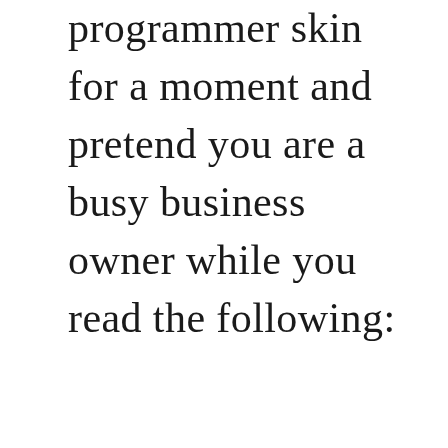programmer skin for a moment and pretend you are a busy business owner while you read the following: